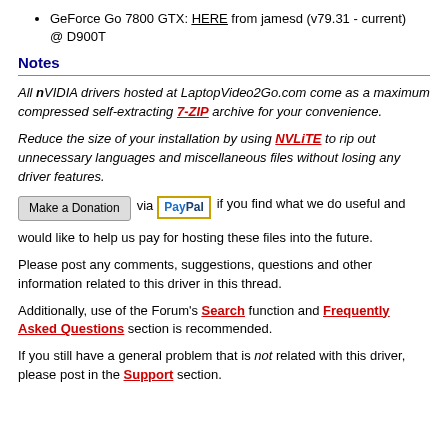GeForce Go 7800 GTX: HERE from jamesd (v79.31 - current) @ D900T
Notes
All nVIDIA drivers hosted at LaptopVideo2Go.com come as a maximum compressed self-extracting 7-ZIP archive for your convenience.
Reduce the size of your installation by using NVLiTE to rip out unnecessary languages and miscellaneous files without losing any driver features.
Make a Donation via PayPal if you find what we do useful and would like to help us pay for hosting these files into the future.
Please post any comments, suggestions, questions and other information related to this driver in this thread.
Additionally, use of the Forum's Search function and Frequently Asked Questions section is recommended.
If you still have a general problem that is not related with this driver, please post in the Support section.